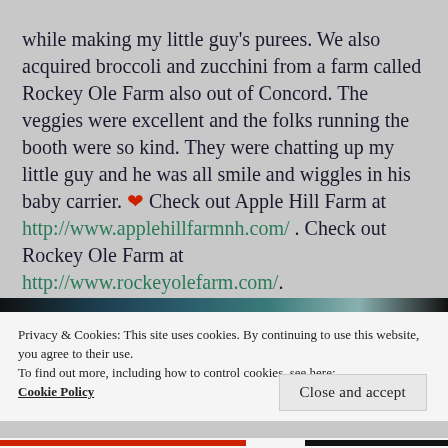while making my little guy's purees. We also acquired broccoli and zucchini from a farm called Rockey Ole Farm also out of Concord. The veggies were excellent and the folks running the booth were so kind. They were chatting up my little guy and he was all smile and wiggles in his baby carrier. ❤ Check out Apple Hill Farm at http://www.applehillfarmnh.com/ . Check out Rockey Ole Farm at http://www.rockeyolefarm.com/.
Privacy & Cookies: This site uses cookies. By continuing to use this website, you agree to their use. To find out more, including how to control cookies, see here: Cookie Policy
Close and accept